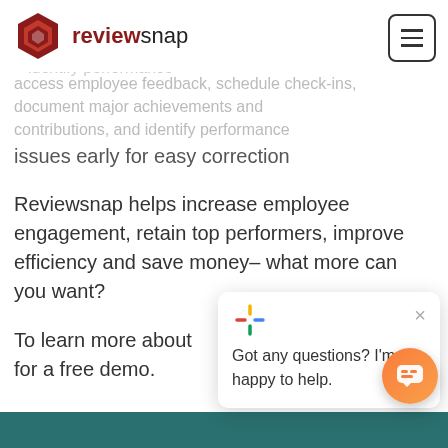reviewsnap
access employee feedback, schedule check-ins, document major achievements and contributions, and identify performance issues early for easy correction
Reviewsnap helps increase employee engagement, retain top performers, improve efficiency and save money– what more can you want?
To learn more about for a free demo.
[Figure (screenshot): Chat widget popup with Google Assistant-style logo showing 'Got any questions? I'm happy to help.' and a close button]
[Figure (other): Orange circular chat button in bottom right corner]